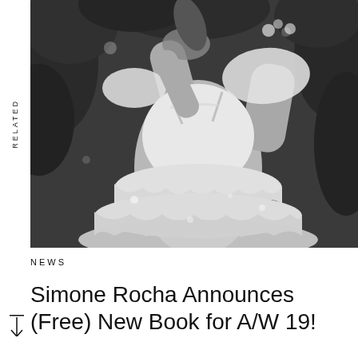RELATED
[Figure (photo): Black and white photograph of a person wearing a tiered ruffled white dress with off-shoulder tulle sleeves, surrounded by tropical foliage, holding a leaf near their face.]
NEWS
Simone Rocha Announces (Free) New Book for A/W 19!